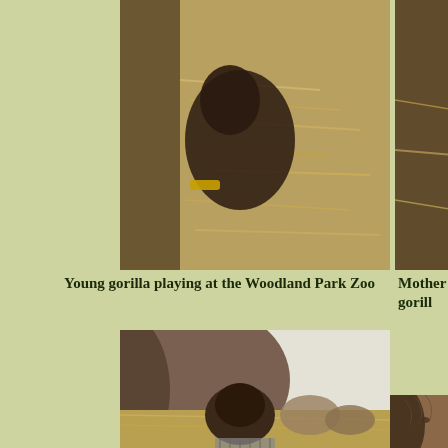[Figure (photo): Young gorilla playing in hay at the Woodland Park Zoo, viewed from above through glass]
[Figure (photo): Mother gorilla partially visible at right edge, in hay enclosure]
Young gorilla playing at the Woodland Park Zoo
Mother gorill
[Figure (photo): Gorilla leaning against glass enclosure wall with hay on the ground, close-up view]
[Figure (photo): Close-up of gorilla skin/back, right side of page, partially cropped]